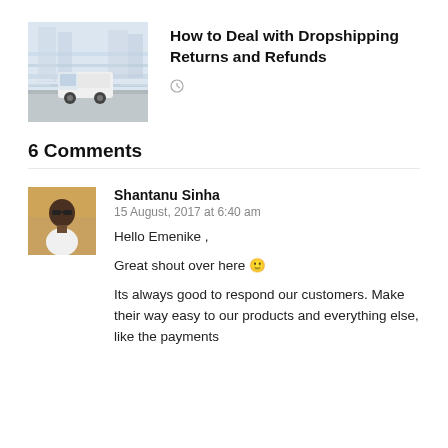[Figure (photo): Thumbnail image of a white van in motion on a road with blurred city background]
How to Deal with Dropshipping Returns and Refunds
6 Comments
[Figure (photo): Avatar photo of Shantanu Sinha, a man wearing sunglasses and a white t-shirt]
Shantanu Sinha
15 August, 2017 at 6:40 am
Hello Emenike ,

Great shout over here 🙂

Its always good to respond our customers. Make their way easy to our products and everything else, like the payments